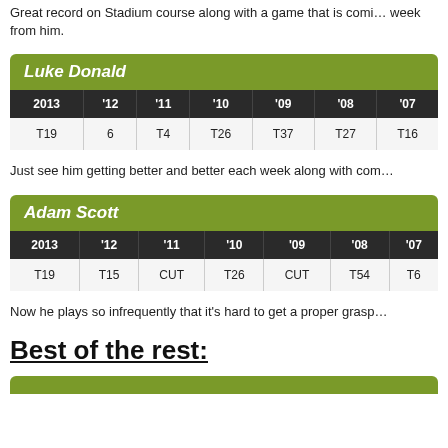Great record on Stadium course along with a game that is coming each week from him.
| 2013 | '12 | '11 | '10 | '09 | '08 | '07 |
| --- | --- | --- | --- | --- | --- | --- |
| T19 | 6 | T4 | T26 | T37 | T27 | T16 |
Just see him getting better and better each week along with com...
| 2013 | '12 | '11 | '10 | '09 | '08 | '07 |
| --- | --- | --- | --- | --- | --- | --- |
| T19 | T15 | CUT | T26 | CUT | T54 | T6 |
Now he plays so infrequently that it's hard to get a proper grasp...
Best of the rest: